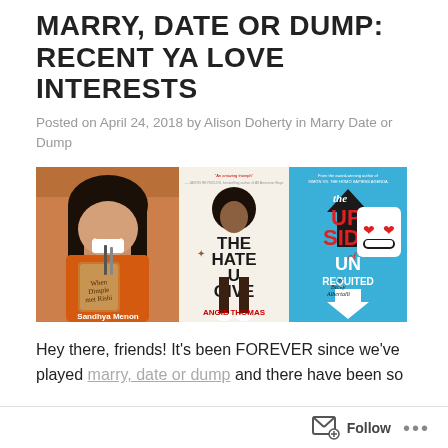MARRY, DATE OR DUMP: RECENT YA LOVE INTERESTS
Posted on April 24, 2018 by Alison Doherty in Marry Date or Dump
[Figure (photo): Three YA book covers side by side: 'When Dimple Met Rishi' by Sandhya Menon, 'The Hate U Give' by Angie Thomas, and 'The Upside of Unrequited' by Becky Albertalli]
Hey there, friends! It's been FOREVER since we've played marry, date or dump and there have been so